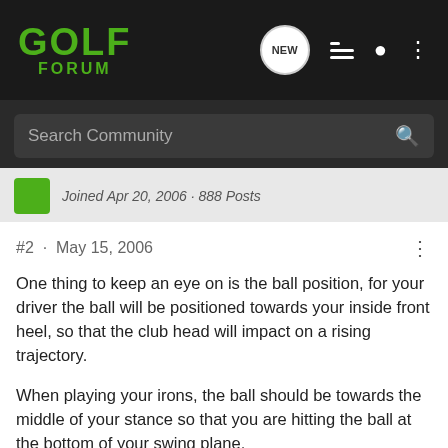GOLF FORUM
Search Community
Joined Apr 20, 2006 · 888 Posts
#2 · May 15, 2006
One thing to keep an eye on is the ball position, for your driver the ball will be positioned towards your inside front heel, so that the club head will impact on a rising trajectory.
When playing your irons, the ball should be towards the middle of your stance so that you are hitting the ball at the bottom of your swing plane.
Id recommend looking at the books by Dave Pelz, his short game bible is well worth a read. Too much to go into here, but essentially he theorises that there should be different swings for different parts of your game, power - driving, finesse - approach